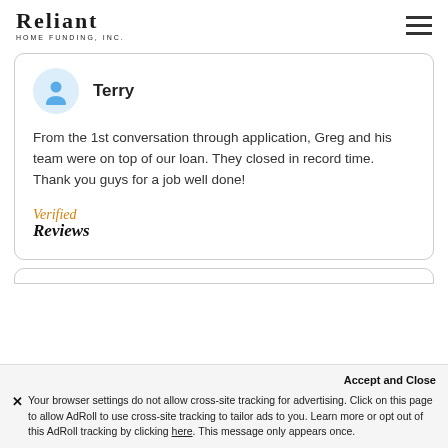RELIANT HOME FUNDING, INC.
Terry

From the 1st conversation through application, Greg and his team were on top of our loan. They closed in record time. Thank you guys for a job well done!

Verified Reviews
Accept and Close
✕ Your browser settings do not allow cross-site tracking for advertising. Click on this page to allow AdRoll to use cross-site tracking to tailor ads to you. Learn more or opt out of this AdRoll tracking by clicking here. This message only appears once.